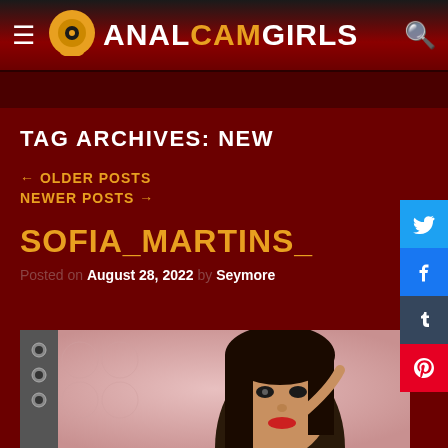ANAL CAM GIRLS
TAG ARCHIVES: NEW
← OLDER POSTS
NEWER POSTS →
SOFIA_MARTINS_
Posted on August 28, 2022 by Seymore
[Figure (photo): Photo of a young woman with dark hair, red lips, pink background, appears to be a webcam/livestream screenshot]